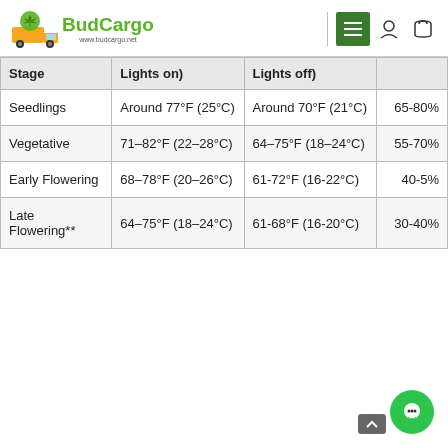BudCargo - www.budcargo.net
| Stage | Lights on) | Lights off) |  |
| --- | --- | --- | --- |
| Seedlings | Around 77°F (25°C) | Around 70°F (21°C) | 65-80% |
| Vegetative | 71–82°F (22–28°C) | 64–75°F (18–24°C) | 55-70% |
| Early Flowering | 68–78°F (20–26°C) | 61-72°F (16-22°C) | 40-5% |
| Late Flowering** | 64–75°F (18–24°C) | 61-68°F (16-20°C) | 30-40% |